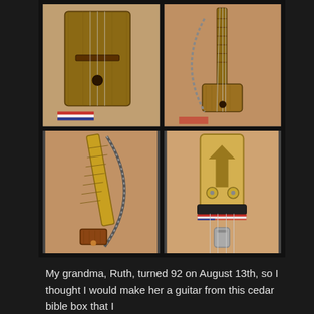[Figure (photo): Four photos of a handmade guitar/dulcimer instrument made from a cedar bible box. Top-left: top view of the instrument body with strings. Top-right: full side/front view of the instrument with neck. Bottom-left: close-up of the curved neck/bow portion. Bottom-right: close-up of the headstock with tuning pegs.]
My grandma, Ruth, turned 92 on August 13th, so I thought I would make her a guitar from this cedar bible box that I